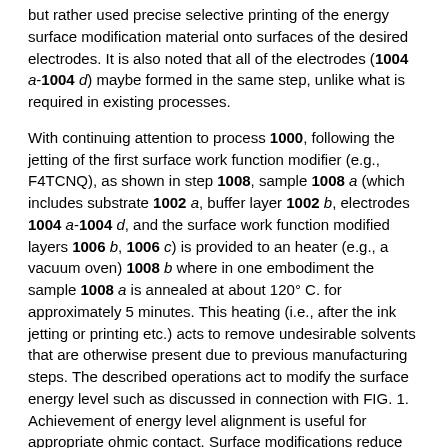but rather used precise selective printing of the energy surface modification material onto surfaces of the desired electrodes. It is also noted that all of the electrodes (1004 a-1004 d) maybe formed in the same step, unlike what is required in existing processes.
With continuing attention to process 1000, following the jetting of the first surface work function modifier (e.g., F4TCNQ), as shown in step 1008, sample 1008 a (which includes substrate 1002 a, buffer layer 1002 b, electrodes 1004 a-1004 d, and the surface work function modified layers 1006 b, 1006 c) is provided to an heater (e.g., a vacuum oven) 1008 b where in one embodiment the sample 1008 a is annealed at about 120° C. for approximately 5 minutes. This heating (i.e., after the ink jetting or printing etc.) acts to remove undesirable solvents that are otherwise present due to previous manufacturing steps. The described operations act to modify the surface energy level such as discussed in connection with FIG. 1. Achievement of energy level alignment is useful for appropriate ohmic contact. Surface modifications reduce the charge injection barrier at the organic molecules/metal interfaces. In one example the modification of ink-jet or